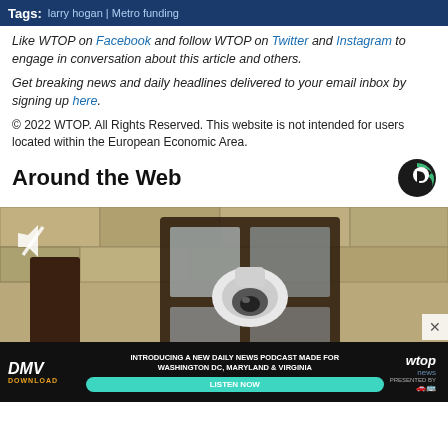Tags: larry hogan | Metro funding
Like WTOP on Facebook and follow WTOP on Twitter and Instagram to engage in conversation about this article and others.
Get breaking news and daily headlines delivered to your email inbox by signing up here.
© 2022 WTOP. All Rights Reserved. This website is not intended for users located within the European Economic Area.
Around the Web
[Figure (photo): A close-up video still of a security camera inside a lantern-style outdoor light fixture mounted on a stone wall, with a mute icon in the upper-left corner.]
[Figure (screenshot): Advertisement banner for WTOP DMV Download podcast: 'Introducing a new daily news podcast made for Washington DC, Maryland & Virginia' with a Listen Now button and WTOP news logo.]